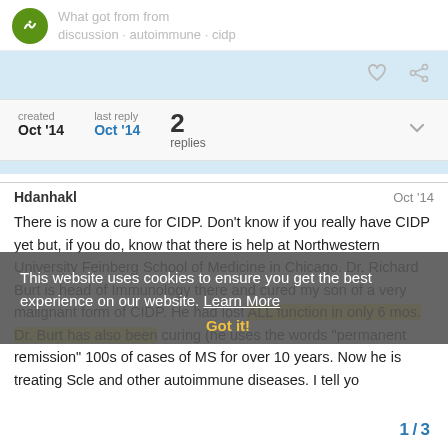Website forum header with logo
created Oct '14   last reply Oct '14   2 replies
Hdanhakl   Oct '14
There is now a cure for CIDP. Don't know if you really have CIDP yet but, if you do, know that there is help at Northwestern University Feinberg School of Medicine in Chicago. Dr. Richard Burt is head of Immunology there and cured my son of a very malignant form of CIDP. He had lost ALL function in only 6 mos. Dr. Burt has also been curing (he uses the words "permanent remission" 100s of cases of MS for over 10 years. Now he is treating Scle and other autoimmune diseases. I tell yo
This website uses cookies to ensure you get the best experience on our website. Got it!
1 / 3